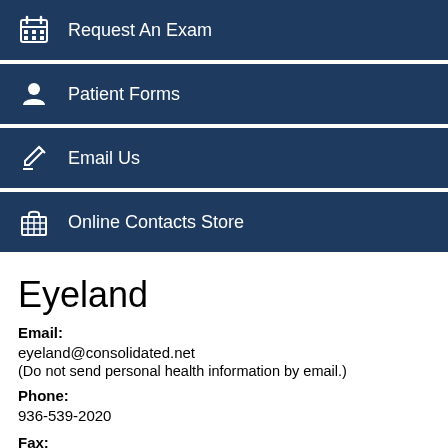Request An Exam
Patient Forms
Email Us
Online Contacts Store
Eyeland
Email:
eyeland@consolidated.net
(Do not send personal health information by email.)
Phone:
936-539-2020
Fax:
936-756-7916
1400 N Loop 336 W...